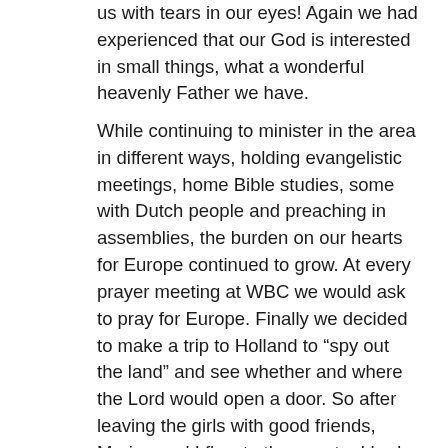us with tears in our eyes! Again we had experienced that our God is interested in small things, what a wonderful heavenly Father we have.
While continuing to minister in the area in different ways, holding evangelistic meetings, home Bible studies, some with Dutch people and preaching in assemblies, the burden on our hearts for Europe continued to grow. At every prayer meeting at WBC we would ask to pray for Europe. Finally we decided to make a trip to Holland to “spy out the land” and see whether and where the Lord would open a door. So after leaving the girls with good friends, Marina and I flew to the country I had left more than 12 years before. It was great to see my family and have them meet Marina. My younger brother and his wife had a Volkswagen Beetle and they drove us all over Holland, visiting family, churches and special meetings, while all the while we were praying and